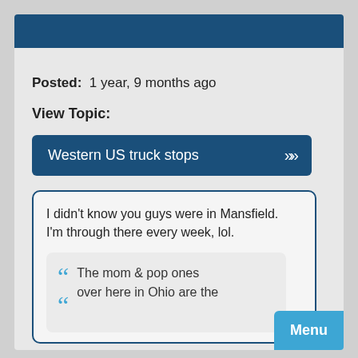Posted:  1 year, 9 months ago
View Topic:
Western US truck stops
I didn't know you guys were in Mansfield. I'm through there every week, lol.
The mom & pop ones over here in Ohio are the
Menu